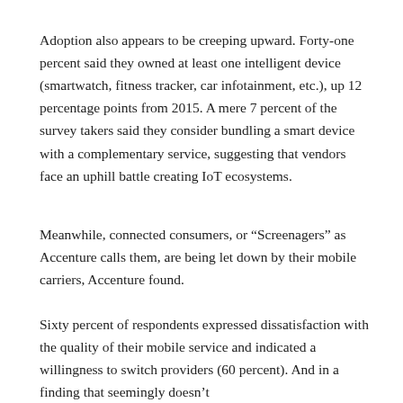Adoption also appears to be creeping upward. Forty-one percent said they owned at least one intelligent device (smartwatch, fitness tracker, car infotainment, etc.), up 12 percentage points from 2015. A mere 7 percent of the survey takers said they consider bundling a smart device with a complementary service, suggesting that vendors face an uphill battle creating IoT ecosystems.
Meanwhile, connected consumers, or “Screenagers” as Accenture calls them, are being let down by their mobile carriers, Accenture found.
Sixty percent of respondents expressed dissatisfaction with the quality of their mobile service and indicated a willingness to switch providers (60 percent). And in a finding that seemingly doesn't b[...] said they we[...]